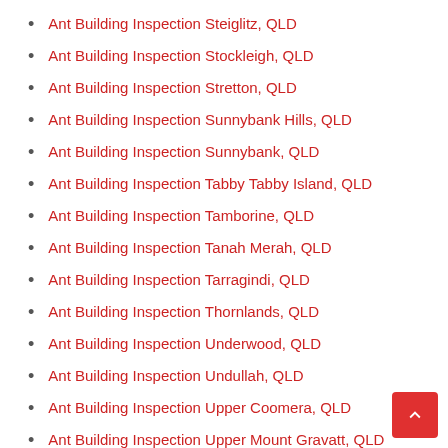Ant Building Inspection Steiglitz, QLD
Ant Building Inspection Stockleigh, QLD
Ant Building Inspection Stretton, QLD
Ant Building Inspection Sunnybank Hills, QLD
Ant Building Inspection Sunnybank, QLD
Ant Building Inspection Tabby Tabby Island, QLD
Ant Building Inspection Tamborine, QLD
Ant Building Inspection Tanah Merah, QLD
Ant Building Inspection Tarragindi, QLD
Ant Building Inspection Thornlands, QLD
Ant Building Inspection Underwood, QLD
Ant Building Inspection Undullah, QLD
Ant Building Inspection Upper Coomera, QLD
Ant Building Inspection Upper Mount Gravatt, QLD